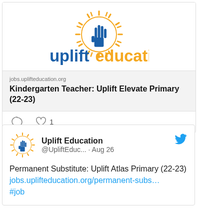[Figure (logo): Uplift Education logo: blue hand raised inside a golden sunburst circle, with 'uplift' in blue bold text and 'education' in gold bold text]
jobs.uplifteducation.org
Kindergarten Teacher: Uplift Elevate Primary (22-23)
[Figure (logo): Uplift Education small logo avatar: blue hand raised in golden sunburst]
Uplift Education @UpliftEduc... · Aug 26
Permanent Substitute: Uplift Atlas Primary (22-23) jobs.uplifteducation.org/permanent-subs… #job